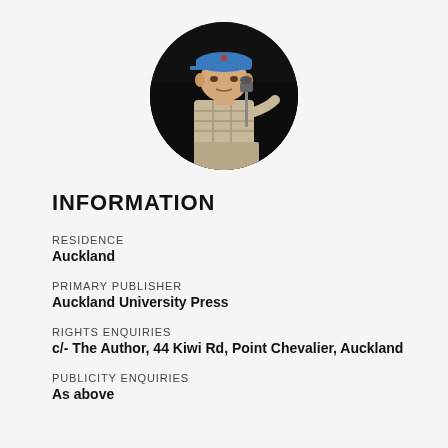[Figure (photo): Circular profile photo of a man wearing a blue baseball cap and plaid shirt, standing at a microphone/podium against a dark background.]
INFORMATION
RESIDENCE
Auckland
PRIMARY PUBLISHER
Auckland University Press
RIGHTS ENQUIRIES
c/- The Author, 44 Kiwi Rd, Point Chevalier, Auckland
PUBLICITY ENQUIRIES
As above